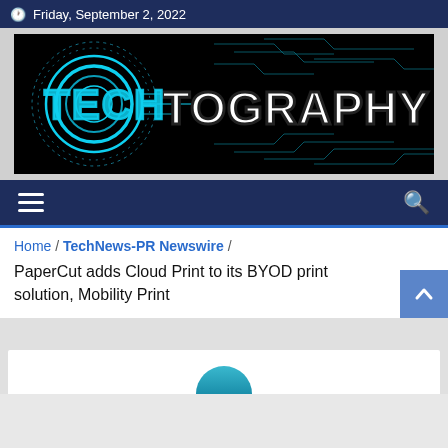Friday, September 2, 2022
[Figure (logo): Techtography website logo: black background with cyan circular tech ring graphic and 'TECHTOGRAPHY' text in futuristic font]
[Figure (infographic): Navigation bar with hamburger menu icon on left and search icon on right, dark blue background]
Home / TechNews-PR Newswire /
PaperCut adds Cloud Print to its BYOD print solution, Mobility Print